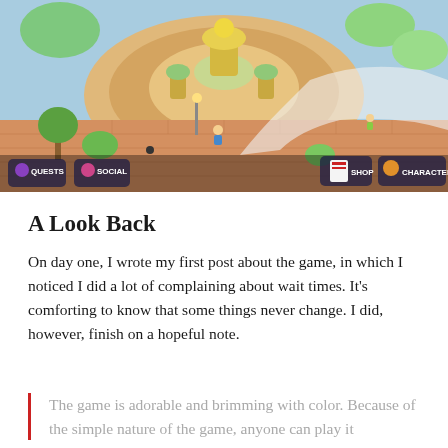[Figure (screenshot): Mobile game screenshot showing a colorful town plaza with circular fountain/statue, brick pathways, cartoon characters, and HUD buttons (QUESTS, SOCIAL, SHOP, CHARACTERS) at the bottom.]
A Look Back
On day one, I wrote my first post about the game, in which I noticed I did a lot of complaining about wait times.  It’s comforting to know that some things never change.  I did, however, finish on a hopeful note.
The game is adorable and brimming with color.  Because of the simple nature of the game, anyone can play it